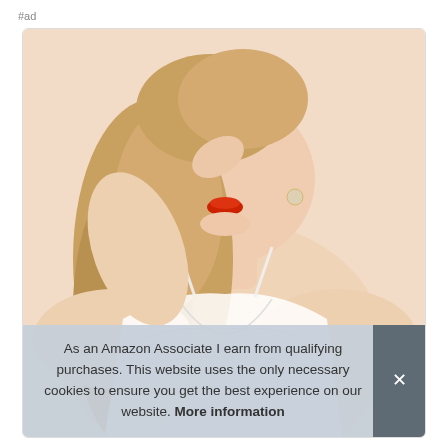#ad
[Figure (photo): Woman wearing white lace lingerie top, blonde hair, red lipstick, product photo for Amazon affiliate advertisement]
As an Amazon Associate I earn from qualifying purchases. This website uses the only necessary cookies to ensure you get the best experience on our website. More information